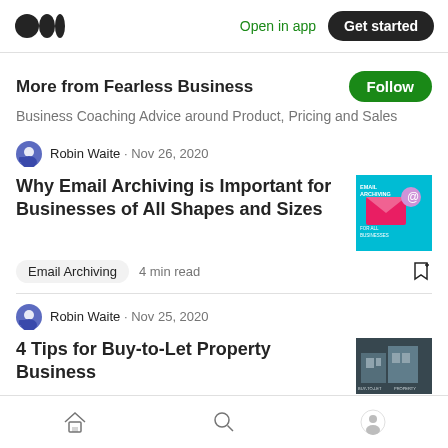Medium logo | Open in app | Get started
More from Fearless Business
Business Coaching Advice around Product, Pricing and Sales
Robin Waite · Nov 26, 2020
Why Email Archiving is Important for Businesses of All Shapes and Sizes
Email Archiving   4 min read
Robin Waite · Nov 25, 2020
4 Tips for Buy-to-Let Property Business
Home | Search | Profile